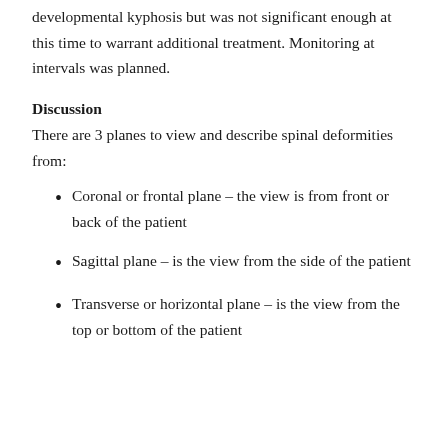developmental kyphosis but was not significant enough at this time to warrant additional treatment. Monitoring at intervals was planned.
Discussion
There are 3 planes to view and describe spinal deformities from:
Coronal or frontal plane – the view is from front or back of the patient
Sagittal plane – is the view from the side of the patient
Transverse or horizontal plane – is the view from the top or bottom of the patient